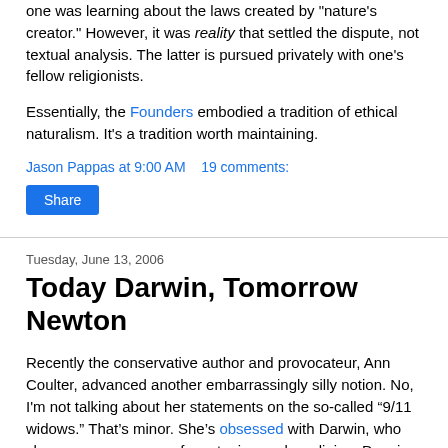one was learning about the laws created by "nature's creator." However, it was reality that settled the dispute, not textual analysis. The latter is pursued privately with one's fellow religionists.
Essentially, the Founders embodied a tradition of ethical naturalism. It's a tradition worth maintaining.
Jason Pappas at 9:00 AM    19 comments:
Share
Tuesday, June 13, 2006
Today Darwin, Tomorrow Newton
Recently the conservative author and provocateur, Ann Coulter, advanced another embarrassingly silly notion. No, I'm not talking about her statements on the so-called “9/11 widows.” That’s minor. She’s obsessed with Darwin, who she sees as a source of a satanic secular religion. Darwin, in her view, is pseudo-science used to prop-up a materialist atheistic valueless worldview. With the Catholic Church gun-